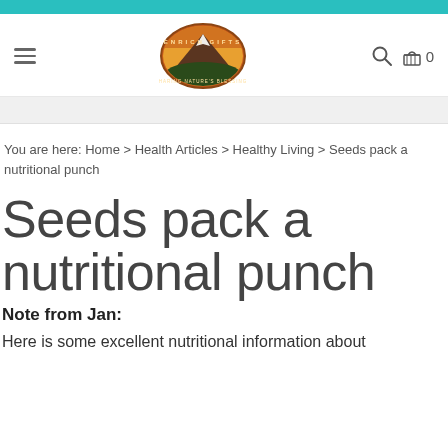Enrich Gifts — navigation header with logo, hamburger menu, search, and cart icons
You are here: Home > Health Articles > Healthy Living > Seeds pack a nutritional punch
Seeds pack a nutritional punch
Note from Jan:
Here is some excellent nutritional information about